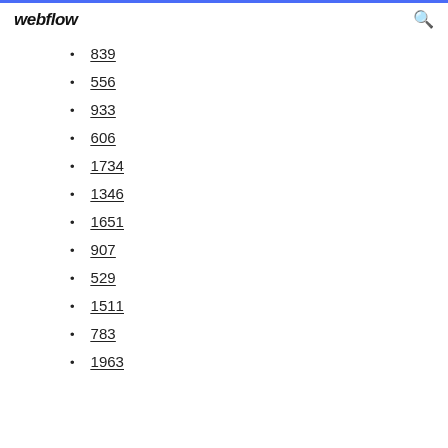webflow
839
556
933
606
1734
1346
1651
907
529
1511
783
1963